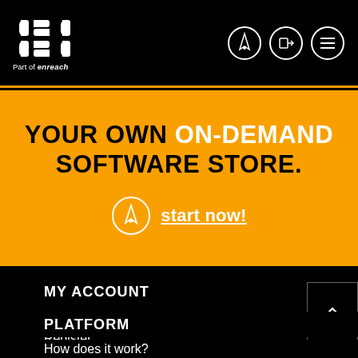DSD - Part of enreach
YOUR OWN ON-DEMAND SOFTWARE STORE.
start now!
MY ACCOUNT
Login
Register
PLATFORM
How does it work?